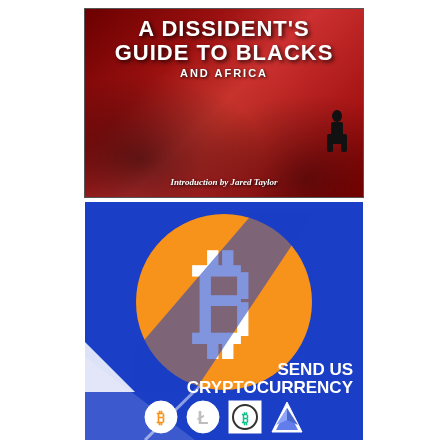[Figure (illustration): Book cover: 'A Dissident's Guide to Blacks and Africa' with Introduction by Jared Taylor, dark red background with street graffiti imagery]
[Figure (infographic): Blue advertisement panel with Bitcoin logo (orange circle with white B symbol), diagonal white stripe, text 'SEND US CRYPTOCURRENCY', and cryptocurrency icons (Bitcoin, Litecoin, Bitcoin Cash, Ethereum) at bottom]